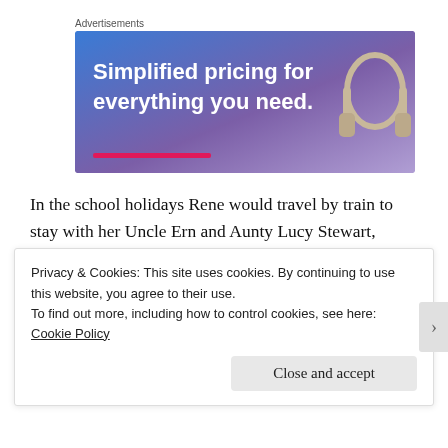Advertisements
[Figure (illustration): Advertisement banner with gradient blue-purple background, white bold text reading 'Simplified pricing for everything you need.', a pink/red horizontal bar at bottom left, and a partial image of a headphone on the right side.]
In the school holidays Rene would travel by train to stay with her Uncle Ern and Aunty Lucy Stewart, Jane's younger brother and his wife. Ern and Lucy
Privacy & Cookies: This site uses cookies. By continuing to use this website, you agree to their use.
To find out more, including how to control cookies, see here: Cookie Policy
Close and accept